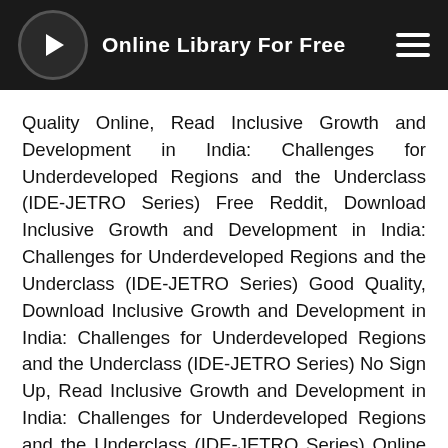Online Library For Free
Quality Online, Read Inclusive Growth and Development in India: Challenges for Underdeveloped Regions and the Underclass (IDE-JETRO Series) Free Reddit, Download Inclusive Growth and Development in India: Challenges for Underdeveloped Regions and the Underclass (IDE-JETRO Series) Good Quality, Download Inclusive Growth and Development in India: Challenges for Underdeveloped Regions and the Underclass (IDE-JETRO Series) No Sign Up, Read Inclusive Growth and Development in India: Challenges for Underdeveloped Regions and the Underclass (IDE-JETRO Series) Online Unblocked, Download Inclusive Growth and Development in India: Challenges for Underdeveloped Regions and the Underclass (IDE-JETRO Series) English , Read Inclusive Growth and Development in India: Challenges for Underdeveloped